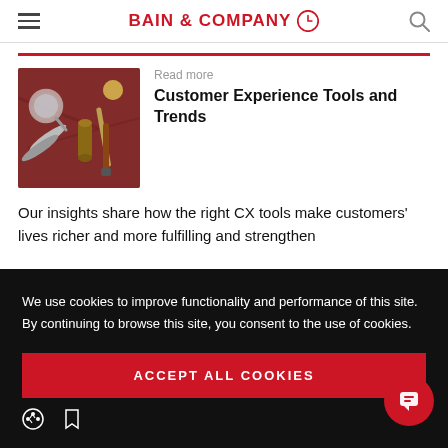BAIN & COMPANY
[Figure (photo): Photo of vintage tools including scissors, a magnifying glass, and other craft tools laid on a red/maroon fabric surface]
Read more
Customer Experience Tools and Trends
Our insights share how the right CX tools make customers' lives richer and more fulfilling and strengthen
We use cookies to improve functionality and performance of this site. By continuing to browse this site, you consent to the use of cookies.
ACCEPT ALL COOKIES